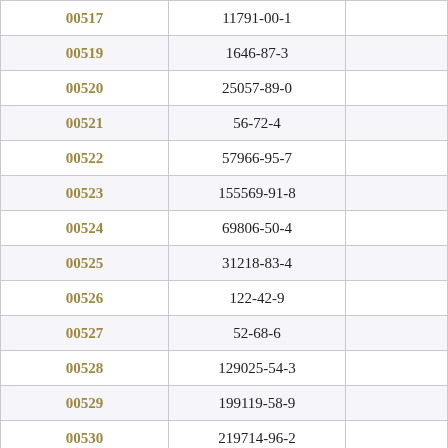| ID | CAS Number |  |
| --- | --- | --- |
| 00517 | 11791-00-1 |  |
| 00519 | 1646-87-3 |  |
| 00520 | 25057-89-0 |  |
| 00521 | 56-72-4 |  |
| 00522 | 57966-95-7 |  |
| 00523 | 155569-91-8 |  |
| 00524 | 69806-50-4 |  |
| 00525 | 31218-83-4 |  |
| 00526 | 122-42-9 |  |
| 00527 | 52-68-6 |  |
| 00528 | 129025-54-3 |  |
| 00529 | 199119-58-9 |  |
| 00530 | 219714-96-2 |  |
| 00531 | 158062-67-0 |  |
| 00532 | 158353-15-2 |  |
| 00533 | 301-12-2 |  |
| 00534 | 500008-45-7 |  |